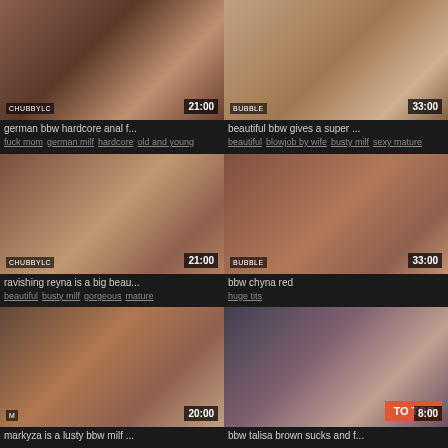[Figure (photo): Video thumbnail 1 - top left]
german bbw hardcore anal f...
fuck mom  german milf  hardcore  old and young
[Figure (photo): Video thumbnail 2 - top right]
beautiful bbw gives a super ...
beautiful  blowjob by wife  busty milf  sexy mature
[Figure (photo): Video thumbnail 3 - middle left]
ravishing reyna is a big beau...
beautiful  busty milf  gorgeous  mature
[Figure (photo): Video thumbnail 4 - middle right]
bbw chyna red
huge tits
[Figure (photo): Video thumbnail 5 - bottom left]
markyza is a lusty bbw milf ...
[Figure (photo): Video thumbnail 6 - bottom right]
bbw talisa brown sucks and f...